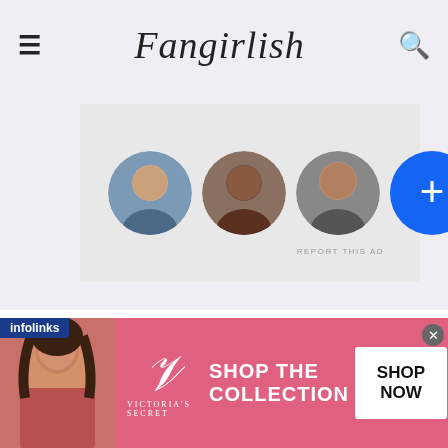Fangirlish
[Figure (photo): Three circular profile photos of people and a blue plus button]
CONTACT US
HBIC – Erin
erin@fangirlish.com
EIC – Lizzie
[Figure (photo): Victoria's Secret advertisement banner with model, logo, and SHOP THE COLLECTION / SHOP NOW button]